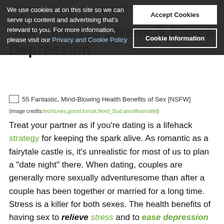"Safe sex is wise. This is not advocating sex, but instead listing the overall potential health benefits of hitting the sheets.
Sex Relieves Stress & Eases Depression
[Figure (screenshot): Cookie consent banner overlay with text: We use cookies at on this site so we can serve up content and advertising that's relevant to you. For more information, please visit our Privacy and Cookie Policy. Buttons: Accept Cookies, Cookie Information.]
[Figure (photo): Image placeholder for '55 Fantastic, Mind-Blowing Health Benefits of Sex [NSFW]']
(image credits: techtunes,gorod.tomsk,Nord_Sud,amolifeamolife)
Treat your partner as if you're dating is a lifehack strategy for keeping the spark alive. As romantic as a fairytale castle is, it's unrealistic for most of us to plan a "date night" there. When dating, couples are generally more sexually adventuresome than after a couple has been together or married for a long time. Stress is a killer for both sexes. The health benefits of having sex to relieve stress and to ease depression have been proven. For men, their release calms them and